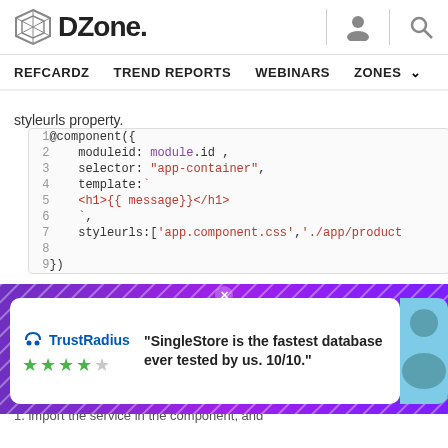DZone. REFCARDZ  TREND REPORTS  WEBINARS  ZONES
styleurls property.
[Figure (screenshot): Code snippet showing @Component decorator in Angular with moduleid, selector, template, and styleurls properties]
providers
in cu ste
[Figure (other): TrustRadius advertisement: SingleStore is the fastest database ever tested by us. 10/10.]
1. import the service in the component, and